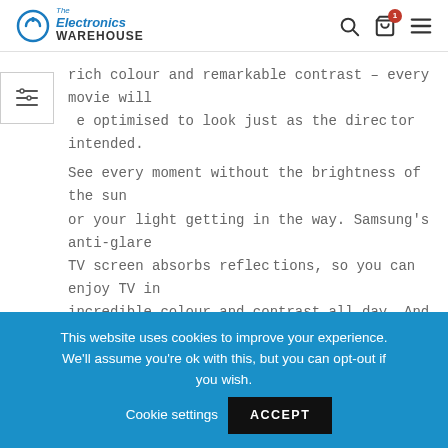The Electronics Warehouse
rich colour and remarkable contrast – every movie will be optimised to look just as the director intended.
See every moment without the brightness of the sun or your light getting in the way. Samsung's anti-glare TV screen absorbs reflections, so you can enjoy TV in incredible colour and contrast all day. And thanks to the ultra-wide viewing angles, no matter where you sit you'll see every detail.
Object Tracking Sound PLUS
This website uses cookies to improve your experience. We'll assume you're ok with this, but you can opt-out if you wish. Cookie settings ACCEPT